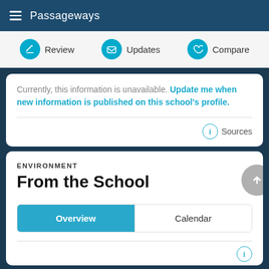Passageways
Review | Updates | Compare
Currently, this information is unavailable. Update me when new information is published on this school's profile.
Sources
ENVIRONMENT
From the School
Overview | Calendar